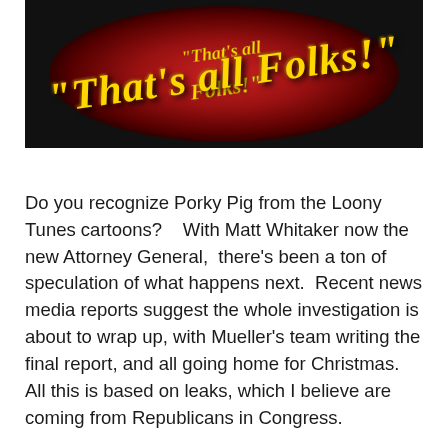[Figure (illustration): Looney Tunes 'That's all Folks!' ending screen with gold cursive text on a red circular background]
Do you recognize Porky Pig from the Loony Tunes cartoons?    With Matt Whitaker now the new Attorney General,  there's been a ton of speculation of what happens next.  Recent news media reports suggest the whole investigation is about to wrap up, with Mueller's team writing the final report, and all going home for Christmas.    All this is based on leaks, which I believe are coming from Republicans in Congress.
Let me suggest that this isn't true.   Mueller can not comment on the investigation.   There may be some attempt to develop a  progress report, but not a final report.   Rod Rosenstein knows what has occurred i...